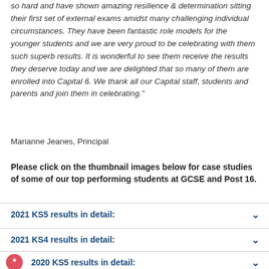so hard and have shown amazing resilience & determination sitting their first set of external exams amidst many challenging individual circumstances. They have been fantastic role models for the younger students and we are very proud to be celebrating with them such superb results. It is wonderful to see them receive the results they deserve today and we are delighted that so many of them are enrolled into Capital 6. We thank all our Capital staff, students and parents and join them in celebrating."
Marianne Jeanes, Principal
Please click on the thumbnail images below for case studies of some of our top performing students at GCSE and Post 16.
2021 KS5 results in detail:
2021 KS4 results in detail:
2020 KS5 results in detail: